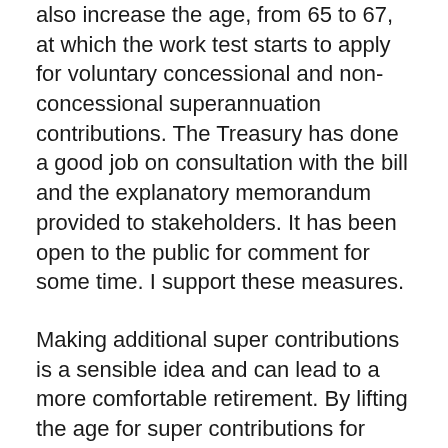also increase the age, from 65 to 67, at which the work test starts to apply for voluntary concessional and non-concessional superannuation contributions. The Treasury has done a good job on consultation with the bill and the explanatory memorandum provided to stakeholders. It has been open to the public for comment for some time. I support these measures.
Making additional super contributions is a sensible idea and can lead to a more comfortable retirement. By lifting the age for super contributions for non-concessional and spousal contributions as well as a work test, individuals will have more opportunities to do this. Whilst this bill assists those wanting to put money into their super, there are further considerations for the direction of super, especially in the current economic context, that I would urge the government to consider.
It's been 30 years since the introduction of super. Australians now have some $2.7 trillion tucked away for